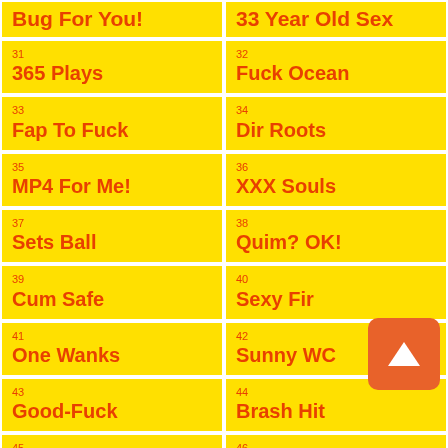Bug For You!
33 Year Old Sex
31
365 Plays
32
Fuck Ocean
33
Fap To Fuck
34
Dir Roots
35
MP4 For Me!
36
XXX Souls
37
Sets Ball
38
Quim? OK!
39
Cum Safe
40
Sexy Fir
41
One Wanks
42
Sunny WC
43
Good-Fuck
44
Brash Hit
45
Gun Bonks
46
HQ Quim!